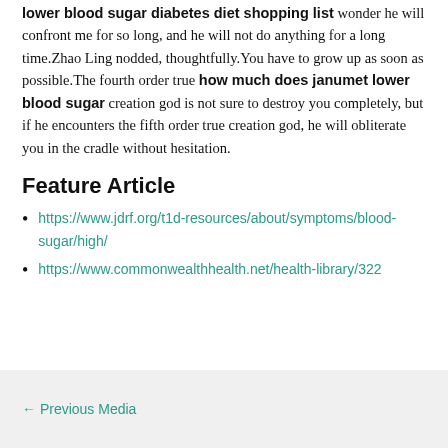lower blood sugar diabetes diet shopping list wonder he will confront me for so long, and he will not do anything for a long time.Zhao Ling nodded, thoughtfully.You have to grow up as soon as possible.The fourth order true how much does janumet lower blood sugar creation god is not sure to destroy you completely, but if he encounters the fifth order true creation god, he will obliterate you in the cradle without hesitation.
Feature Article
https://www.jdrf.org/t1d-resources/about/symptoms/blood-sugar/high/
https://www.commonwealthhealth.net/health-library/322
← Previous Media